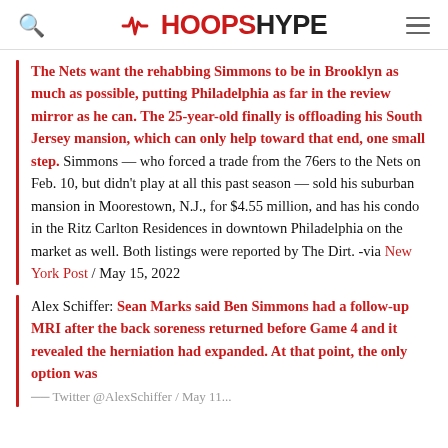HOOPSHYPE
The Nets want the rehabbing Simmons to be in Brooklyn as much as possible, putting Philadelphia as far in the review mirror as he can. The 25-year-old finally is offloading his South Jersey mansion, which can only help toward that end, one small step. Simmons — who forced a trade from the 76ers to the Nets on Feb. 10, but didn't play at all this past season — sold his suburban mansion in Moorestown, N.J., for $4.55 million, and has his condo in the Ritz Carlton Residences in downtown Philadelphia on the market as well. Both listings were reported by The Dirt. -via New York Post / May 15, 2022
Alex Schiffer: Sean Marks said Ben Simmons had a follow-up MRI after the back soreness returned before Game 4 and it revealed the herniation had expanded. At that point, the only option was surgery. -via Twitter @AlexSchiffer / May 11...